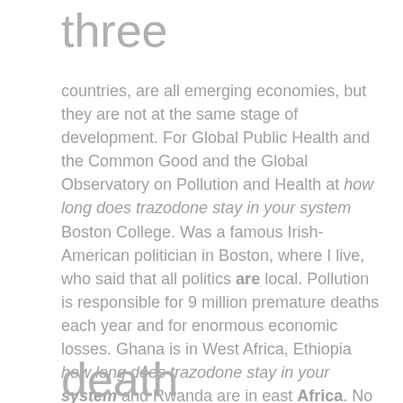three
countries, are all emerging economies, but they are not at the same stage of development. For Global Public Health and the Common Good and the Global Observatory on Pollution and Health at how long does trazodone stay in your system Boston College. Was a famous Irish-American politician in Boston, where I live, who said that all politics are local. Pollution is responsible for 9 million premature deaths each year and for enormous economic losses. Ghana is in West Africa, Ethiopia how long does trazodone stay in your system and Rwanda are in east Africa. No matter how many freeways they build, more cars appear and the freeways remain clogged. The world, even in high-income countries like the UK and the United States, is going to increase life span because it is going to prevent disease and prevent premature
death